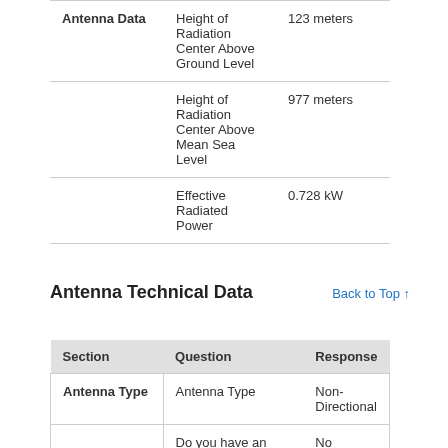| Section | Question | Response |
| --- | --- | --- |
| Antenna Data | Height of Radiation Center Above Ground Level | 123 meters |
|  | Height of Radiation Center Above Mean Sea Level | 977 meters |
|  | Effective Radiated Power | 0.728 kW |
Antenna Technical Data
Back to Top ↑
| Section | Question | Response |
| --- | --- | --- |
| Antenna Type | Antenna Type | Non-Directional |
|  | Do you have an | No |